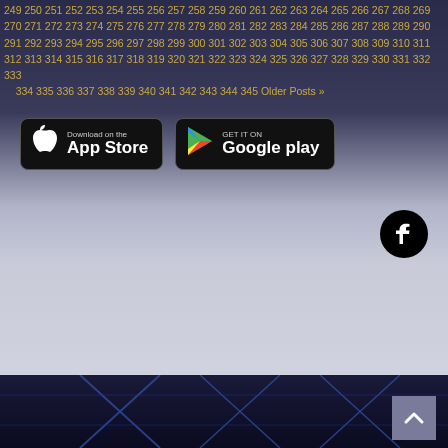249 250 251 252 253 254 255 256 257 258 259 260 261 262 263 264 265 266 267 268 269 270 271 272 273 274 275 276 277 278 279 280 281 282 283 284 285 286 287 288 289 290 291 292 293 294 295 296 297 298 299 300 301 302 303 304 305 306 307 308 309 310 311 312 313 314 315 316 317 318 319 320 321 322 323 324 325 326 327 328 329 330 331 332 333 334 335 336 337 338 339 340 341 342 343 344 345 Older Posts »
[Figure (logo): Download on the App Store badge]
[Figure (logo): Get it on Google Play badge]
[Figure (logo): Facebook circular icon button]
[Figure (photo): Background: blue-lit industrial truss/scaffolding structure at bottom of page]
Standard View
[Figure (other): Scroll to top button with upward caret arrow]